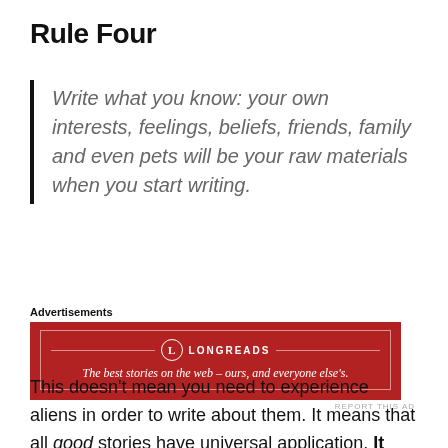Rule Four
Write what you know: your own interests, feelings, beliefs, friends, family and even pets will be your raw materials when you start writing.
Advertisements
[Figure (other): Longreads advertisement banner: red background with logo and tagline 'The best stories on the web – ours, and everyone else's.']
This doesn't mean you need to experience aliens in order to write about them. It means that all good stories have universal application. It doesn't matter what culture you're from or what language you speak; all human beings know